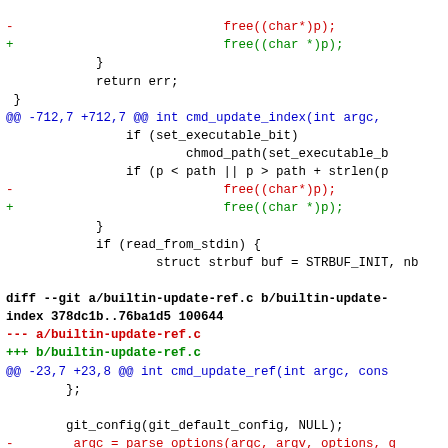diff --git code fragment showing changes to builtin-update-index.c and builtin-update-ref.c
Code diff with red lines showing removed code and green lines showing added code